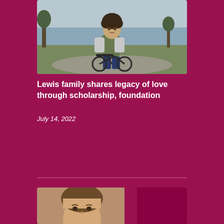[Figure (photo): Young child with curly hair riding a balance bike outdoors near a lake, wearing a green vest and grey long-sleeve shirt]
Lewis family shares legacy of love through scholarship, foundation
July 14, 2022
READ MORE
[Figure (photo): Partial photo of a person at the bottom of the page, partially cropped]